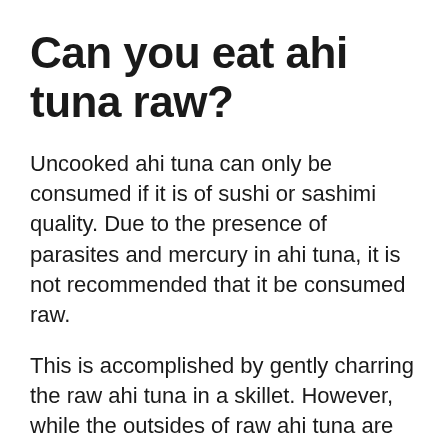Can you eat ahi tuna raw?
Uncooked ahi tuna can only be consumed if it is of sushi or sashimi quality. Due to the presence of parasites and mercury in ahi tuna, it is not recommended that it be consumed raw.
This is accomplished by gently charring the raw ahi tuna in a skillet. However, while the outsides of raw ahi tuna are soft and juicy, the center of the fish stays raw and undried.
It’s best not to consume raw ahi tuna if you’re over the age of 50, pregnant, nursing, or otherwise immunocompromised. The